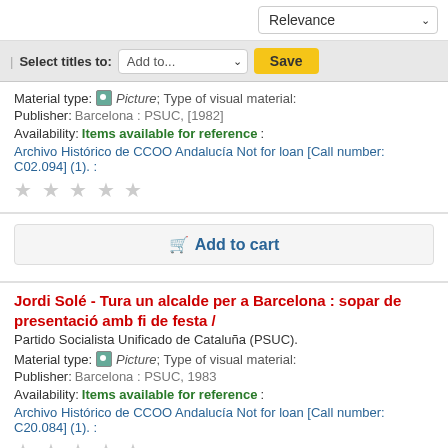Relevance (dropdown)
Select titles to: Add to... Save
Material type: Picture; Type of visual material:
Publisher: Barcelona : PSUC, [1982]
Availability: Items available for reference: Archivo Histórico de CCOO Andalucía Not for loan [Call number: C02.094] (1). :
★★★★★ (empty stars)
Add to cart
Jordi Solé - Tura un alcalde per a Barcelona : sopar de presentació amb fi de festa /
Partido Socialista Unificado de Cataluña (PSUC).
Material type: Picture; Type of visual material:
Publisher: Barcelona : PSUC, 1983
Availability: Items available for reference: Archivo Histórico de CCOO Andalucía Not for loan [Call number: C20.084] (1). :
★★★★★ (empty stars)